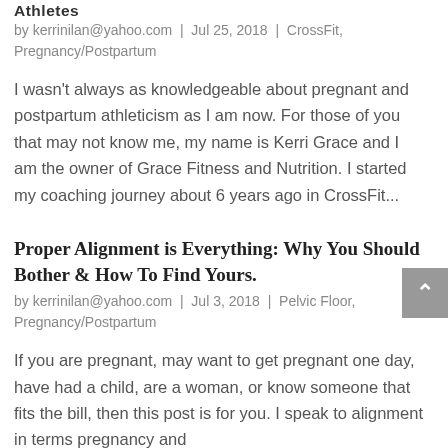Athletes
by kerrinilan@yahoo.com | Jul 25, 2018 | CrossFit, Pregnancy/Postpartum
I wasn't always as knowledgeable about pregnant and postpartum athleticism as I am now. For those of you that may not know me, my name is Kerri Grace and I am the owner of Grace Fitness and Nutrition. I started my coaching journey about 6 years ago in CrossFit...
Proper Alignment is Everything: Why You Should Bother & How To Find Yours.
by kerrinilan@yahoo.com | Jul 3, 2018 | Pelvic Floor, Pregnancy/Postpartum
If you are pregnant, may want to get pregnant one day, have had a child, are a woman, or know someone that fits the bill, then this post is for you. I speak to alignment in terms pregnancy and